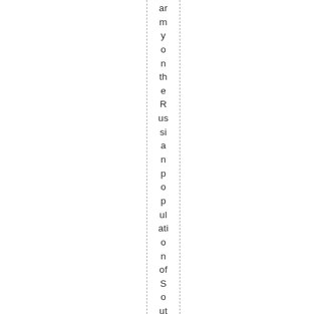army on the Russian population of South Ossetia, an